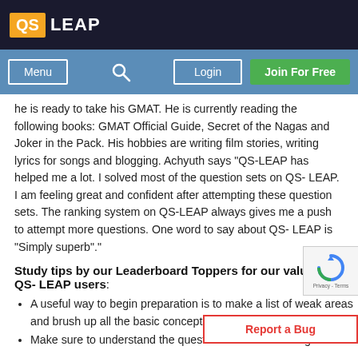QS LEAP
he is ready to take his GMAT. He is currently reading the following books: GMAT Official Guide, Secret of the Nagas and Joker in the Pack. His hobbies are writing film stories, writing lyrics for songs and blogging. Achyuth says "QS-LEAP has helped me a lot. I solved most of the question sets on QS- LEAP. I am feeling great and confident after attempting these question sets. The ranking system on QS-LEAP always gives me a push to attempt more questions. One word to say about QS- LEAP is "Simply superb"."
Study tips by our Leaderboard Toppers for our valuable QS- LEAP users:
A useful way to begin preparation is to make a list of weak areas and brush up all the basic concepts in those areas.
Make sure to understand the question before answering